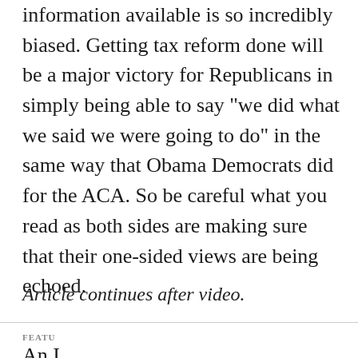information available is so incredibly biased. Getting tax reform done will be a major victory for Republicans in simply being able to say "we did what we said we were going to do" in the same way that Obama Democrats did for the ACA. So be careful what you read as both sides are making sure that their one-sided views are being echoed.
Article continues after video.
[Figure (screenshot): Inc. Best in Business advertisement banner with 'Deadline: 9/1' and 'Apply Now' button]
FEATU
An I